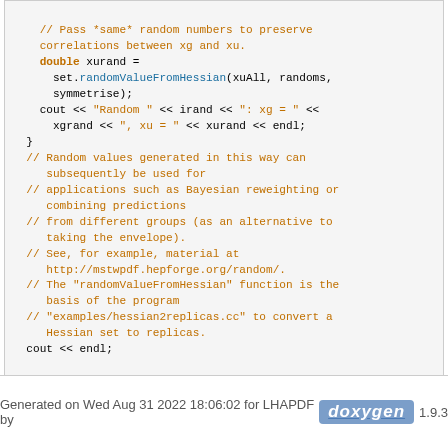// Pass *same* random numbers to preserve correlations between xg and xu.
    double xurand =
      set.randomValueFromHessian(xuAll, randoms, symmetrise);
    cout << "Random " << irand << ": xg = " << xgrand << ", xu = " << xurand << endl;
  }
  // Random values generated in this way can subsequently be used for
  // applications such as Bayesian reweighting or combining predictions
  // from different groups (as an alternative to taking the envelope).
  // See, for example, material at http://mstwpdf.hepforge.org/random/.
  // The "randomValueFromHessian" function is the basis of the program
  // "examples/hessian2replicas.cc" to convert a Hessian set to replicas.
  cout << endl;

}

return 0;

}
Generated on Wed Aug 31 2022 18:06:02 for LHAPDF by doxygen 1.9.3